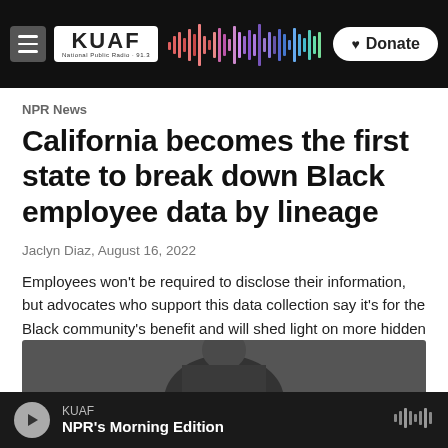KUAF National Public Radio — Donate
NPR News
California becomes the first state to break down Black employee data by lineage
Jaclyn Diaz, August 16, 2022
Employees won't be required to disclose their information, but advocates who support this data collection say it's for the Black community's benefit and will shed light on more hidden disparities.
[Figure (photo): Photo of a person, partially visible at bottom of article]
KUAF — NPR's Morning Edition